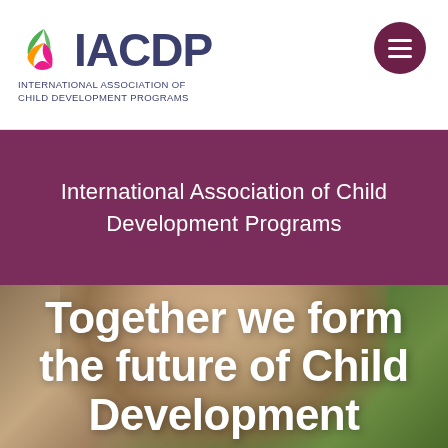[Figure (logo): IACDP logo with colorful leaf/flame graphic and text 'IACDP INTERNATIONAL ASSOCIATION OF CHILD DEVELOPMENT PROGRAMS']
[Figure (other): Dark maroon circular hamburger menu button with three white horizontal lines]
International Association of Child Development Programs
[Figure (photo): Photo of a child with blonde hair, partially visible, with green and warm-toned background]
Together we form the future of Child Development